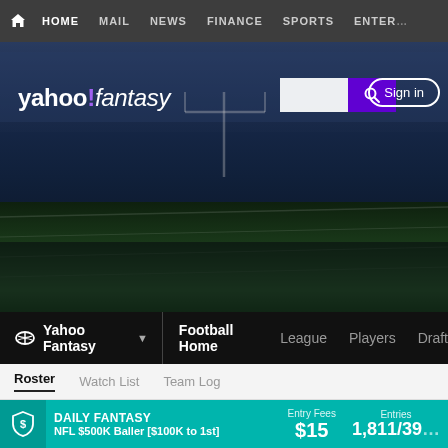HOME  MAIL  NEWS  FINANCE  SPORTS  ENTER...
[Figure (screenshot): Yahoo Fantasy Football hero banner with football field background, Yahoo Fantasy logo, search bar, and Sign in button]
Yahoo Fantasy ▾
Football Home  League  Players  Draft
Roster  Watch List  Team Log
DAILY FANTASY  NFL $500K Baller [$100K to 1st]  Entry Fees $15  Entries 1,811/39...
Fantasy FB Weekly ▾
--hidden--  Since '05
Rating: 8...